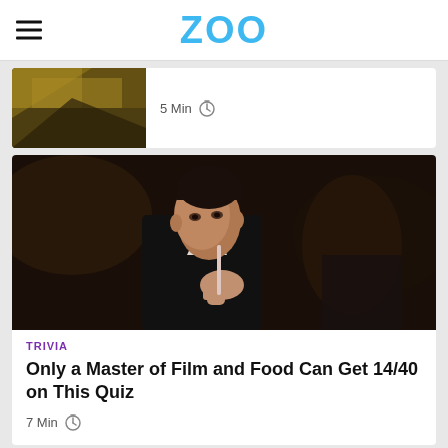ZOO
[Figure (photo): Partial card with a torn bread/food image on the left and '5 Min' timer text on the right]
5 Min
[Figure (photo): Movie still of a man in a black suit drinking through a straw, dark cinematic scene]
TRIVIA
Only a Master of Film and Food Can Get 14/40 on This Quiz
7 Min